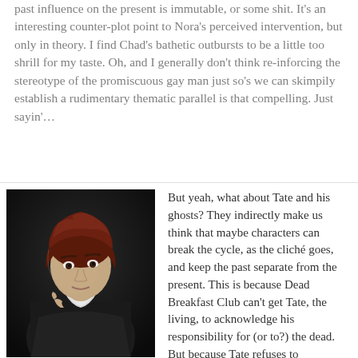past influence on the present is immutable, or some shit. It's an interesting counter-plot point to Nora's perceived intervention, but only in theory. I find Chad's bathetic outbursts to be a little too shrill for my taste. Oh, and I generally don't think re-inforcing the stereotype of the promiscuous gay man just so's we can skimpily establish a rudimentary thematic parallel is that compelling. Just sayin'…
[Figure (photo): A woman with short red/auburn hair wearing a dark dress with a white collar, photographed against a dark background, looking slightly to the side.]
But yeah, what about Tate and his ghosts? They indirectly make us think that maybe characters can break the cycle, as the cliché goes, and keep the past separate from the present. This is because Dead Breakfast Club can't get Tate, the living, to acknowledge his responsibility for (or to?) the dead. But because Tate refuses to immediately accept the link between past and present, we the viewer leave the events of